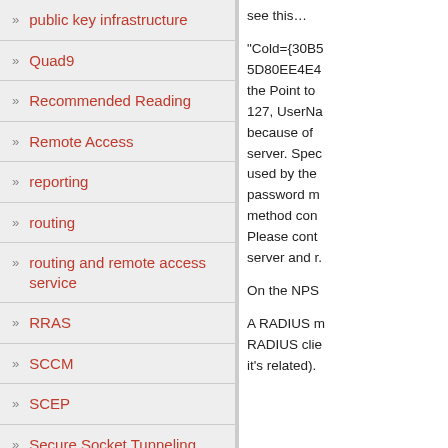public key infrastructure
Quad9
Recommended Reading
Remote Access
reporting
routing
routing and remote access service
RRAS
SCCM
SCEP
Secure Socket Tunneling Protocol
see this... "Cold={30B5...5D80EE4E4... the Point to 127, UserNa... because of ... server. Spec... used by the ... password m... method con... Please cont... server and r... On the NPS... A RADIUS m... RADIUS clie... it's related).